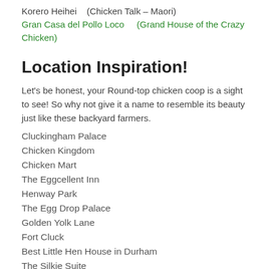Korero Heihei (Chicken Talk – Maori)
Gran Casa del Pollo Loco (Grand House of the Crazy Chicken)
Location Inspiration!
Let's be honest, your Round-top chicken coop is a sight to see! So why not give it a name to resemble its beauty just like these backyard farmers.
Cluckingham Palace
Chicken Kingdom
Chicken Mart
The Eggcellent Inn
Henway Park
The Egg Drop Palace
Golden Yolk Lane
Fort Cluck
Best Little Hen House in Durham
The Silkie Suite